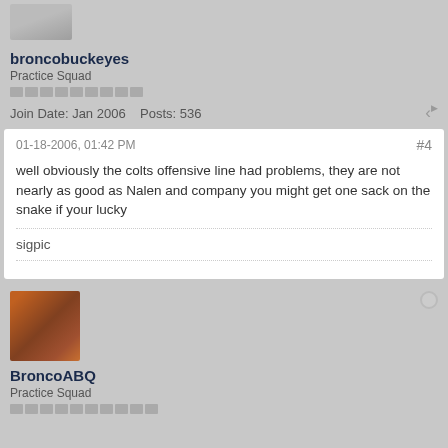[Figure (photo): User avatar image (partially visible) for broncobuckeyes]
broncobuckeyes
Practice Squad
Join Date: Jan 2006    Posts: 536
01-18-2006, 01:42 PM
#4
well obviously the colts offensive line had problems, they are not nearly as good as Nalen and company you might get one sack on the snake if your lucky
sigpic
[Figure (photo): User avatar image for BroncoABQ showing a person in orange/broncos gear]
BroncoABQ
Practice Squad